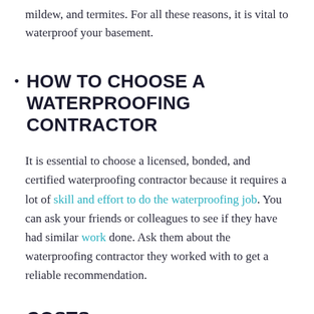mildew, and termites. For all these reasons, it is vital to waterproof your basement.
HOW TO CHOOSE A WATERPROOFING CONTRACTOR
It is essential to choose a licensed, bonded, and certified waterproofing contractor because it requires a lot of skill and effort to do the waterproofing job. You can ask your friends or colleagues to see if they have had similar work done. Ask them about the waterproofing contractor they worked with to get a reliable recommendation.
COSTS
The waterproofing contractor that you hire should do their job as per guidelines. To determine the right...